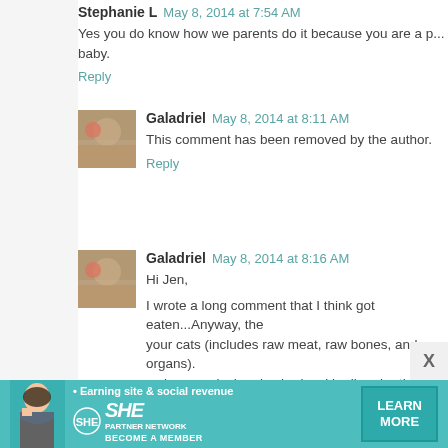Stephanie L  May 8, 2014 at 7:54 AM
Yes you do know how we parents do it because you are a p... baby.
Reply
Galadriel  May 8, 2014 at 8:11 AM
This comment has been removed by the author.
Reply
Galadriel  May 8, 2014 at 8:16 AM
Hi Jen,
I wrote a long comment that I think got eaten...Anyway, the your cats (includes raw meat, raw bones, and raw organs). so improved; she also had a skin disorder that cleared up w Lily's). Our dog died last year at age 14, and up until the ve
Reply
[Figure (infographic): SHE Partner Network advertisement banner with woman photo, tagline 'Earning site & social revenue', SHE logo, and 'LEARN MORE' button]